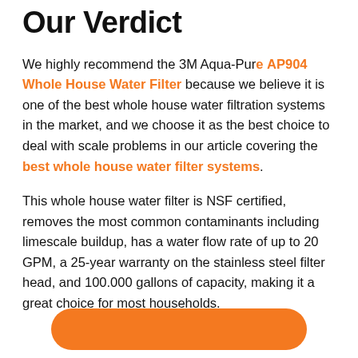Our Verdict
We highly recommend the 3M Aqua-Pure AP904 Whole House Water Filter because we believe it is one of the best whole house water filtration systems in the market, and we choose it as the best choice to deal with scale problems in our article covering the best whole house water filter systems.
This whole house water filter is NSF certified, removes the most common contaminants including limescale buildup, has a water flow rate of up to 20 GPM, a 25-year warranty on the stainless steel filter head, and 100.000 gallons of capacity, making it a great choice for most households.